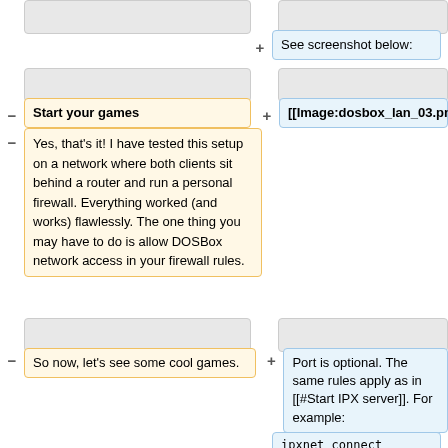See screenshot below:
Start your games
[[Image:dosbox_lan_03.png]]
Yes, that's it! I have tested this setup on a network where both clients sit behind a router and run a personal firewall. Everything worked (and works) flawlessly. The one thing you may have to do is allow DOSBox network access in your firewall rules.
So now, let's see some cool games.
Port is optional. The same rules apply as in [[#Start IPX server]]. For example:
ipxnet connect 192.168.2.100 19900